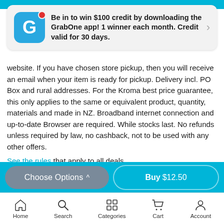[Figure (screenshot): GrabOne app notification banner with G logo icon, red notification dot, and chevron arrow. Text: Be in to win $100 credit by downloading the GrabOne app! 1 winner each month. Credit valid for 30 days.]
website. If you have chosen store pickup, then you will receive an email when your item is ready for pickup. Delivery incl. PO Box and rural addresses. For the Kroma best price guarantee, this only applies to the same or equivalent product, quantity, materials and made in NZ. Broadband internet connection and up-to-date Browser are required. While stocks last. No refunds unless required by law, no cashback, not to be used with any other offers.
See the rules that apply to all deals.
SOLD BY
Kroma
Business in Trade
[Figure (screenshot): Bottom action buttons: 'Choose Options ^' grey button on left and 'Buy $12.50' cyan button on right]
Home  Search  Categories  Cart  Account